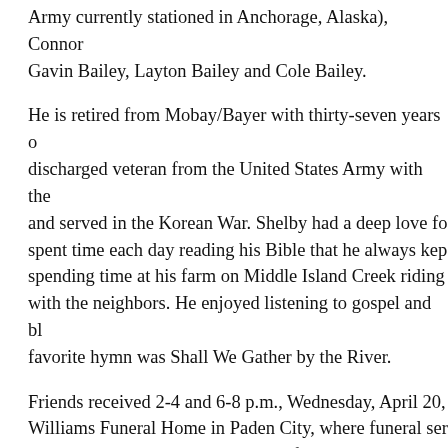Army currently stationed in Anchorage, Alaska), Connor Gavin Bailey, Layton Bailey and Cole Bailey.
He is retired from Mobay/Bayer with thirty-seven years discharged veteran from the United States Army with the and served in the Korean War. Shelby had a deep love fo spent time each day reading his Bible that he always kep spending time at his farm on Middle Island Creek riding with the neighbors. He enjoyed listening to gospel and bl favorite hymn was Shall We Gather by the River.
Friends received 2-4 and 6-8 p.m., Wednesday, April 20, Williams Funeral Home in Paden City, where funeral ser Thursday, April 21, 2022. Burial to follow in Greenlawn Martinsville.
Memorial contributions may be made to Journey Hospic Sistersville, WV 26175 or Paden City Flag Fund, %Wesl Ave., Paden City, WV 26159.